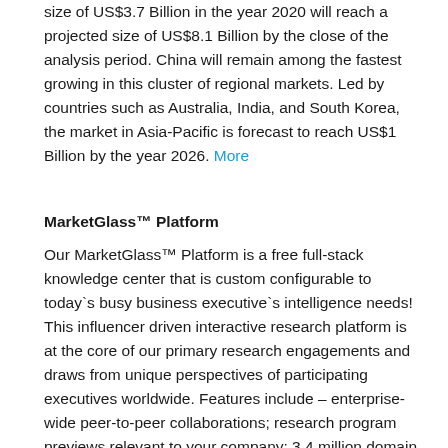size of US$3.7 Billion in the year 2020 will reach a projected size of US$8.1 Billion by the close of the analysis period. China will remain among the fastest growing in this cluster of regional markets. Led by countries such as Australia, India, and South Korea, the market in Asia-Pacific is forecast to reach US$1 Billion by the year 2026. More
MarketGlass™ Platform
Our MarketGlass™ Platform is a free full-stack knowledge center that is custom configurable to today`s busy business executive`s intelligence needs! This influencer driven interactive research platform is at the core of our primary research engagements and draws from unique perspectives of participating executives worldwide. Features include – enterprise-wide peer-to-peer collaborations; research program previews relevant to your company; 3.4 million domain expert profiles; competitive company profiles;